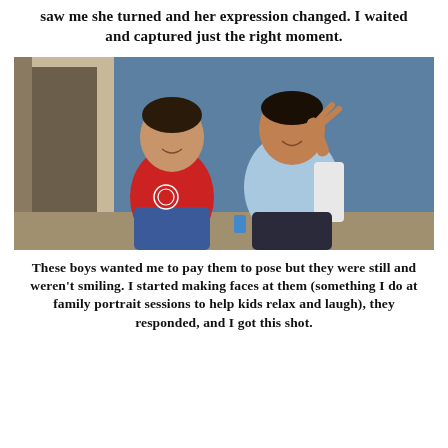saw me she turned and her expression changed. I waited and captured just the right moment.
[Figure (photo): Two boys sitting against a blue wall. The boy on the left wears a red t-shirt with a basketball graphic and jeans. The boy on the right wears a light blue vest over a white long-sleeve shirt and dark pants. Both are smiling; the boy on the right makes a peace sign and points at the other boy.]
These boys wanted me to pay them to pose but they were still and weren't smiling. I started making faces at them (something I do at family portrait sessions to help kids relax and laugh), they responded, and I got this shot.